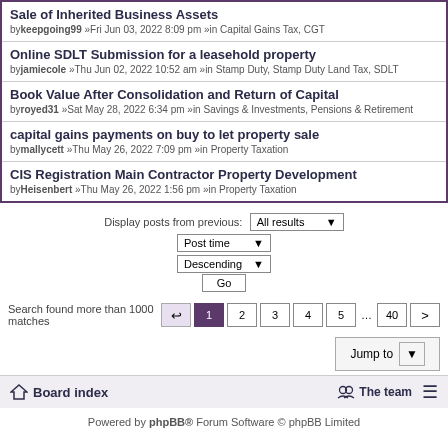Sale of Inherited Business Assets
by keepgoing99 »Fri Jun 03, 2022 8:09 pm »in Capital Gains Tax, CGT
Online SDLT Submission for a leasehold property
by jamiecole »Thu Jun 02, 2022 10:52 am »in Stamp Duty, Stamp Duty Land Tax, SDLT
Book Value After Consolidation and Return of Capital
by royed31 »Sat May 28, 2022 6:34 pm »in Savings & Investments, Pensions & Retirement
capital gains payments on buy to let property sale
by mallycett »Thu May 26, 2022 7:09 pm »in Property Taxation
CIS Registration Main Contractor Property Development
by Heisenbert »Thu May 26, 2022 1:56 pm »in Property Taxation
Display posts from previous: All results | Post time | Descending | Go
Search found more than 1000 matches  1 2 3 4 5 ... 40 >
Jump to
Board index   The team
Powered by phpBB® Forum Software © phpBB Limited